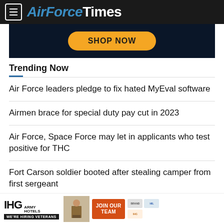AirForceTimes
[Figure (screenshot): Advertisement banner with dark navy background and 'SHOP NOW' yellow button]
Trending Now
Air Force leaders pledge to fix hated MyEval software
Airmen brace for special duty pay cut in 2023
Air Force, Space Force may let in applicants who test positive for THC
Fort Carson soldier booted after stealing camper from first sergeant
[Figure (screenshot): IHG Army Hotels advertisement banner: 'We're Hiring Veterans' with 'JOIN OUR TEAM' button]